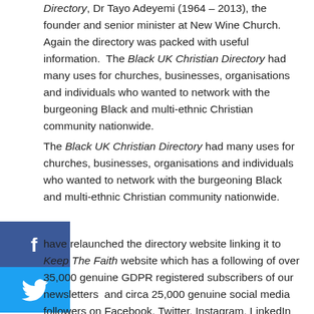Directory, Dr Tayo Adeyemi (1964 – 2013), the founder and senior minister at New Wine Church.  Again the directory was packed with useful information.  The Black UK Christian Directory had many uses for churches, businesses, organisations and individuals who wanted to network with the burgeoning Black and multi-ethnic Christian community nationwide.
The Black UK Christian Directory had many uses for churches, businesses, organisations and individuals who wanted to network with the burgeoning Black and multi-ethnic Christian community nationwide.
[Figure (other): Facebook share button (blue square with white 'f' icon)]
[Figure (other): Twitter share button (blue square with white bird icon)]
have relaunched the directory website linking it to Keep The Faith website which has a following of over 35,000 genuine GDPR registered subscribers of our newsletters  and circa 25,000 genuine social media followers on Facebook, Twitter, Instagram, LinkedIn following our publisher/editor-in-chief  Shirley McGreal and our business pages  to ensure all listings in the directory are promoted to our vast audience!